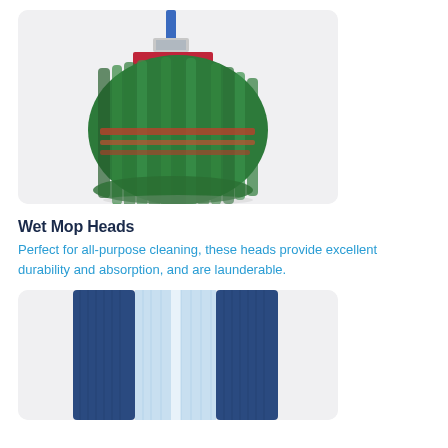[Figure (photo): Green wet mop head with red bands and a blue/silver handle mount, photographed on a light grey rounded-rectangle background]
Wet Mop Heads
Perfect for all-purpose cleaning, these heads provide excellent durability and absorption, and are launderable.
[Figure (photo): Blue microfiber flat mop head with two blue fringe sides and a lighter blue/white center strip, photographed on a light grey rounded-rectangle background]